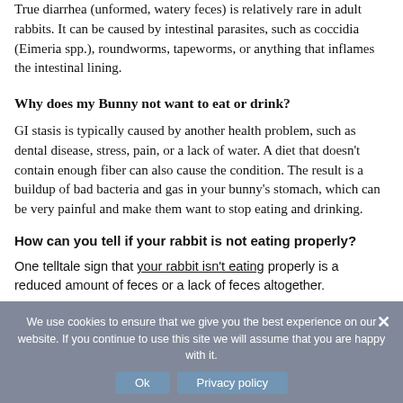True diarrhea (unformed, watery feces) is relatively rare in adult rabbits. It can be caused by intestinal parasites, such as coccidia (Eimeria spp.), roundworms, tapeworms, or anything that inflames the intestinal lining.
Why does my Bunny not want to eat or drink?
GI stasis is typically caused by another health problem, such as dental disease, stress, pain, or a lack of water. A diet that doesn't contain enough fiber can also cause the condition. The result is a buildup of bad bacteria and gas in your bunny's stomach, which can be very painful and make them want to stop eating and drinking.
How can you tell if your rabbit is not eating properly?
One telltale sign that your rabbit isn't eating properly is a reduced amount of feces or a lack of feces altogether.